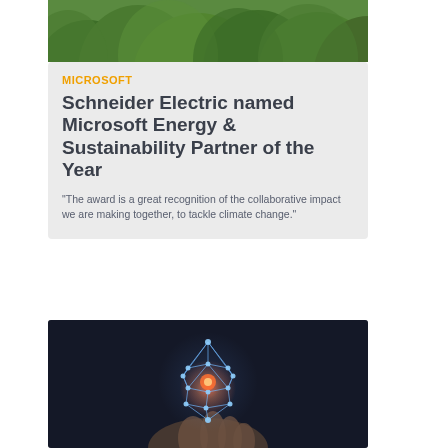[Figure (photo): Aerial view of green forest/trees, used as header image for the card]
MICROSOFT
Schneider Electric named Microsoft Energy & Sustainability Partner of the Year
"The award is a great recognition of the collaborative impact we are making together, to tackle climate change."
[Figure (photo): Dark background photo of a hand holding a glowing geometric digital network sphere/polyhedron with light nodes and connecting lines]